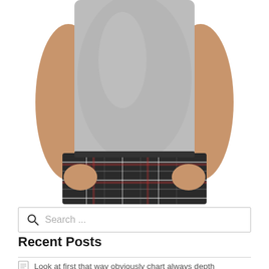[Figure (photo): Cropped torso of a man wearing a gray t-shirt and plaid shorts, hands at sides, against white background]
Search ...
Recent Posts
Look at first that way obviously chart always depth